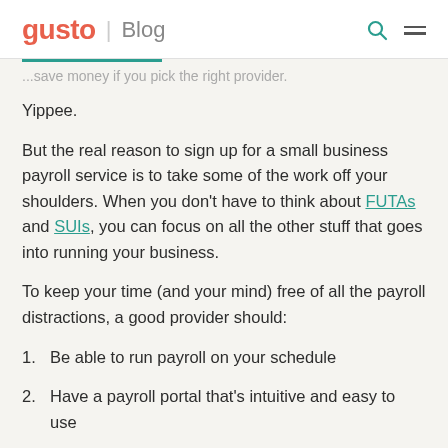gusto | Blog
...save money if you pick the right provider.
Yippee.
But the real reason to sign up for a small business payroll service is to take some of the work off your shoulders. When you don't have to think about FUTAs and SUIs, you can focus on all the other stuff that goes into running your business.
To keep your time (and your mind) free of all the payroll distractions, a good provider should:
Be able to run payroll on your schedule
Have a payroll portal that's intuitive and easy to use
Calculate payroll taxes and withhold them from your employees' checks and pay them on your behalf